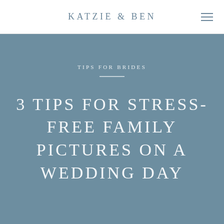KATZIE & BEN
TIPS FOR BRIDES
3 TIPS FOR STRESS-FREE FAMILY PICTURES ON A WEDDING DAY